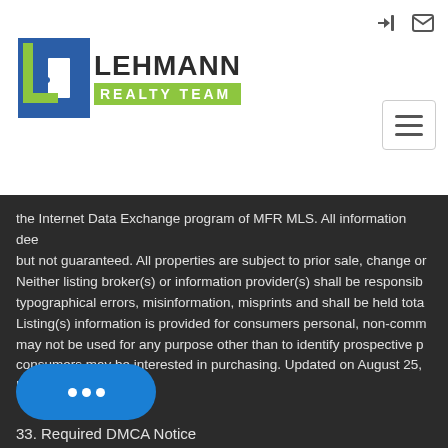[Figure (logo): Lehmann Realty Team logo — blue L-shaped icon with door symbol, LEHMANN in bold dark text, REALTY TEAM in white on green background]
the Internet Data Exchange program of MFR MLS. All information dee but not guaranteed. All properties are subject to prior sale, change or Neither listing broker(s) or information provider(s) shall be responsib typographical errors, misinformation, misprints and shall be held tota Listing(s) information is provided for consumers personal, non-comm may not be used for any purpose other than to identify prospective p consumers may be interested in purchasing. Updated on August 25, UTC
33. Required DMCA Notice
imer
The Digital Millennium Copyright Act of 1998, 17 U.S.C. §512, the DM